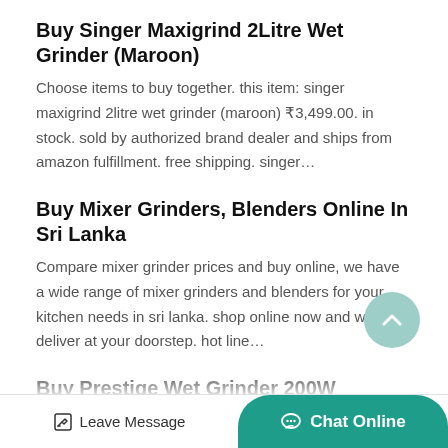Buy Singer Maxigrind 2Litre Wet Grinder (Maroon)
Choose items to buy together. this item: singer maxigrind 2litre wet grinder (maroon) ₹3,499.00. in stock. sold by authorized brand dealer and ships from amazon fulfillment. free shipping. singer…
Buy Mixer Grinders, Blenders Online In Sri Lanka
Compare mixer grinder prices and buy online, we have a wide range of mixer grinders and blenders for your kitchen needs in sri lanka. shop online now and we deliver at your doorstep. hot line…
Buy Prestige Wet Grinder 200W Online In Sri Lanka Singer
Compare prestige wet grinder 200w prices and buy online, we have a wide range of kitchen appliance…
Leave Message   Chat Online